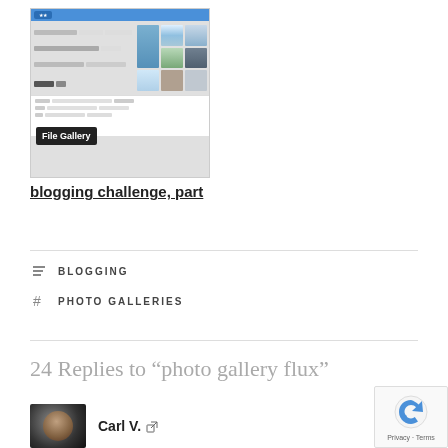[Figure (screenshot): Screenshot of a photo gallery plugin interface showing a file gallery with thumbnail images of buildings and landscapes]
blogging challenge, part
BLOGGING
PHOTO GALLERIES
24 Replies to “photo gallery flux”
Carl V.